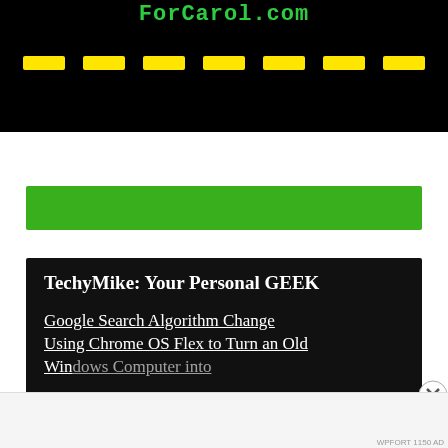ForCarol.com
[Figure (other): Yellow navigation dashes/tabs on black background]
[Figure (other): Green banner/button area]
TechyMike: Your Personal GEEK
Google Search Algorithm Change Using Chrome OS Flex to Turn an Old Windows Computer into...
Advertisements
Getting your team on the same page is easy. And free.